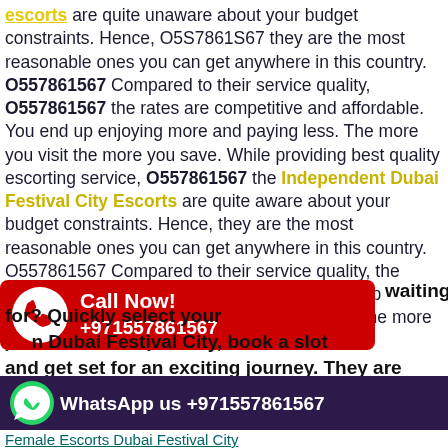escorts are quite unaware about your budget constraints. Hence, O5S7861S67 they are the most reasonable ones you can get anywhere in this country. O557861567 Compared to their service quality, O557861567 the rates are competitive and affordable. You end up enjoying more and paying less. The more you visit the more you save. While providing best quality escorting service, O557861567 the Independent Dubai Festival City Escorts are quite aware about your budget constraints. Hence, they are the most reasonable ones you can get anywhere in this country. O557861567 Compared to their service quality, the rates are competitive and affordable. You end up enjoying more and paying less. O557861567 The more you visit the more you save.
[Figure (infographic): Red Call Now banner with phone icon and +971557861567]
waiting for? Quickly select your Dubai Festival City, book a slot and get set for an exciting journey. They are Waiting!!
[Figure (infographic): Dark purple WhatsApp bar with WhatsApp icon and text: WhatsApp us +971557861567]
Female Escorts Dubai Festival City